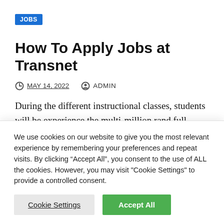JOBS
How To Apply Jobs at Transnet
MAY 14, 2022   ADMIN
During the different instructional classes, students will be experience the multi-million rand full-mission Ship Handling Simulator. This innovation is introduced at the Maritime School of Excellence satellite grounds in
We use cookies on our website to give you the most relevant experience by remembering your preferences and repeat visits. By clicking “Accept All”, you consent to the use of ALL the cookies. However, you may visit "Cookie Settings" to provide a controlled consent.
Cookie Settings   Accept All